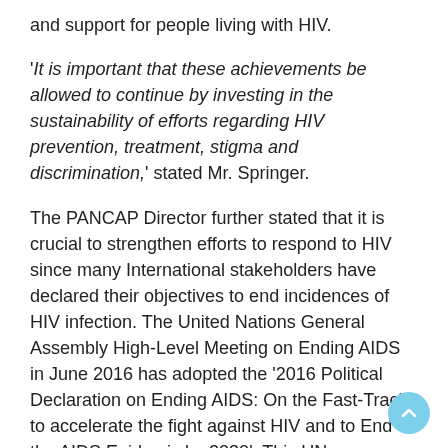and support for people living with HIV.
‘It is important that these achievements be allowed to continue by investing in the sustainability of efforts regarding HIV prevention, treatment, stigma and discrimination,’ stated Mr. Springer.
The PANCAP Director further stated that it is crucial to strengthen efforts to respond to HIV since many International stakeholders have declared their objectives to end incidences of HIV infection. The United Nations General Assembly High-Level Meeting on Ending AIDS in June 2016 has adopted the ‘2016 Political Declaration on Ending AIDS: On the Fast-Track to accelerate the fight against HIV and to End the AIDS Epidemic by 2030’. This UN declaration corresponds with the principal message in the 2030 Agenda for Sustainable Development to leave no one behind.